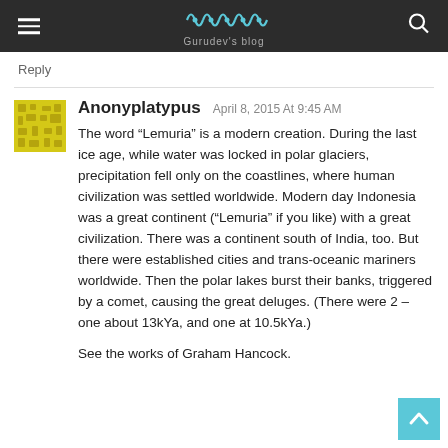Gurudev's blog
Reply
Anonyplatypus April 8, 2015 At 9:45 AM

The word “Lemuria” is a modern creation. During the last ice age, while water was locked in polar glaciers, precipitation fell only on the coastlines, where human civilization was settled worldwide. Modern day Indonesia was a great continent (“Lemuria” if you like) with a great civilization. There was a continent south of India, too. But there were established cities and trans-oceanic mariners worldwide. Then the polar lakes burst their banks, triggered by a comet, causing the great deluges. (There were 2 – one about 13kYa, and one at 10.5kYa.)

See the works of Graham Hancock.